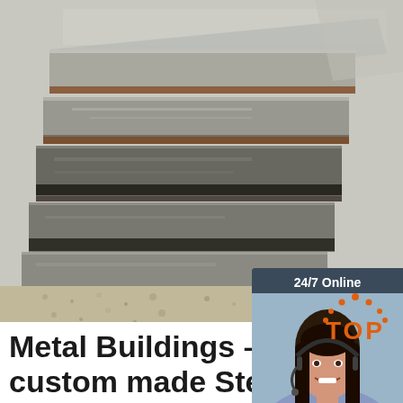[Figure (photo): Stacked steel/metal plates photographed up close, showing layered edges with rust and grease, industrial setting with gravel ground visible at bottom.]
[Figure (infographic): Chat widget overlay: dark teal background with '24/7 Online' text at top, photo of smiling woman with headset, 'Click here for free chat!' italic text, orange QUOTATION button.]
[Figure (logo): Orange 'TOP' text with dot/star decorative elements forming a badge, positioned at bottom right over the main photo.]
Metal Buildings – Buy custom made Steel